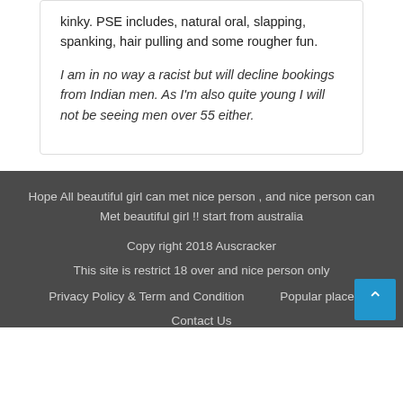kinky. PSE includes, natural oral, slapping, spanking, hair pulling and some rougher fun.
I am in no way a racist but will decline bookings from Indian men. As I'm also quite young I will not be seeing men over 55 either.
Hope All beautiful girl can met nice person , and nice person can Met beautiful girl !! start from australia

Copy right 2018 Auscracker

This site is restrict 18 over and nice person only

Privacy Policy & Term and Condition   Popular place

Contact Us